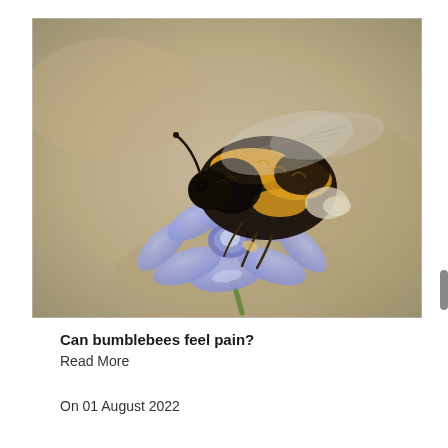[Figure (photo): Close-up macro photograph of a bumblebee (black and yellow striped, fuzzy) perched on a blue/purple flower with multiple petals. The background is a soft beige/tan bokeh blur. The bee dominates the frame and is feeding on the flower's center.]
Can bumblebees feel pain?
Read More
On 01 August 2022